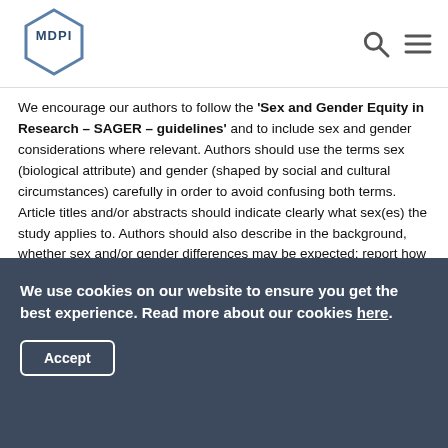[Figure (logo): MDPI hexagonal logo with search and menu icons in header]
We encourage our authors to follow the 'Sex and Gender Equity in Research – SAGER – guidelines' and to include sex and gender considerations where relevant. Authors should use the terms sex (biological attribute) and gender (shaped by social and cultural circumstances) carefully in order to avoid confusing both terms. Article titles and/or abstracts should indicate clearly what sex(es) the study applies to. Authors should also describe in the background, whether sex and/or gender differences may be expected; report how sex and/or gender were accounted for in the design of the study; provide disaggregated data by sex and/or gender, where appropriate; and discuss respective results. If a sex and/or gender analysis was not conducted, the rationale should be given in the Discussion. We
We use cookies on our website to ensure you get the best experience. Read more about our cookies here. Accept